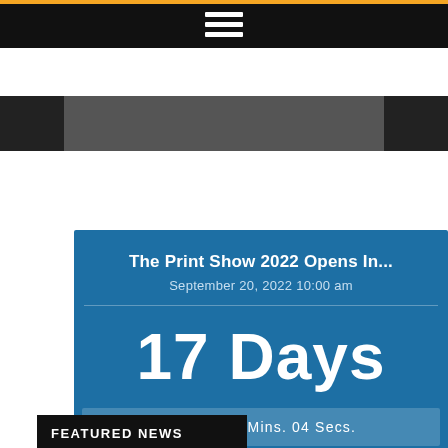[Figure (screenshot): Black top navigation bar with orange top line and hamburger menu icon (three white horizontal bars)]
[Figure (photo): Dark banner strip showing a partial image, likely a vehicle or machinery scene]
The Print Show 2022 Opens In...
September 20, 2022 10:00 am
17 Days
22 Hrs. 51 Mins. 04 Secs.
[Figure (other): Search button with magnifying glass icon and SEARCH label]
[Figure (other): Back to top arrow button (grey square with upward chevron)]
FEATURED NEWS